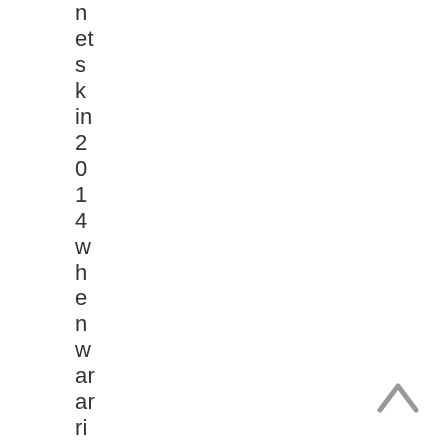nets kin 2014 when war arrived. Now w
[Figure (other): An upward-pointing chevron/caret arrow icon in gray, positioned in the bottom-right corner of the page.]